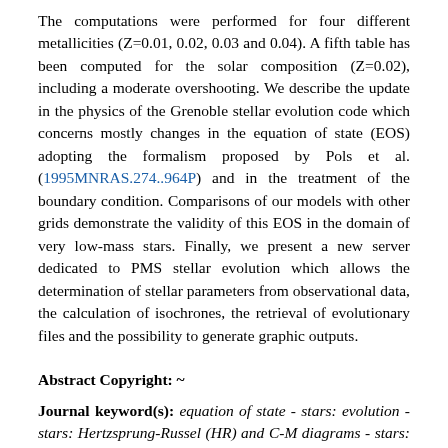The computations were performed for four different metallicities (Z=0.01, 0.02, 0.03 and 0.04). A fifth table has been computed for the solar composition (Z=0.02), including a moderate overshooting. We describe the update in the physics of the Grenoble stellar evolution code which concerns mostly changes in the equation of state (EOS) adopting the formalism proposed by Pols et al. (1995MNRAS.274..964P) and in the treatment of the boundary condition. Comparisons of our models with other grids demonstrate the validity of this EOS in the domain of very low-mass stars. Finally, we present a new server dedicated to PMS stellar evolution which allows the determination of stellar parameters from observational data, the calculation of isochrones, the retrieval of evolutionary files and the possibility to generate graphic outputs.
Abstract Copyright: ~
Journal keyword(s): equation of state - stars: evolution - stars: Hertzsprung-Russel (HR) and C-M diagrams - stars: pre-main sequence - astronomical data bases: miscellaneous